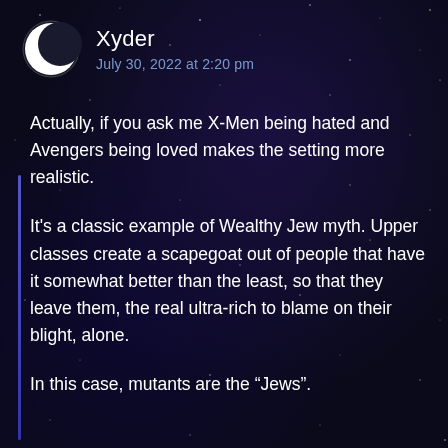[Figure (illustration): Dark space/night sky background with stars and purple nebula glow]
Xyder
July 30, 2022 at 2:20 pm
Actually, if you ask me X-Men being hated and Avengers being loved makes the setting more realistic.
It's a classic example of Wealthy Jew myth. Upper classes create a scapegoat out of people that have it somewhat better than the least, so that they leave them, the real ultra-rich to blame on their blight, alone.
In this case, mutants are the “Jews”.